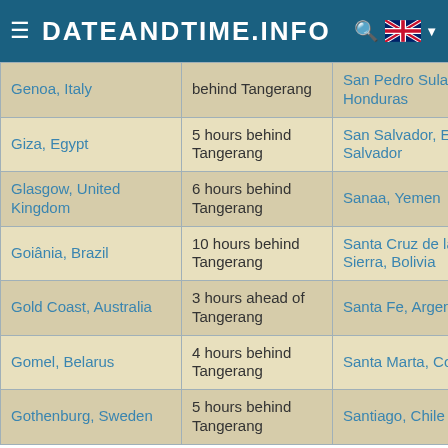DATEANDTIME.INFO
| City | Offset | City | Offset |
| --- | --- | --- | --- |
| Genoa, Italy | behind Tangerang | San Pedro Sula, Honduras | behind Tangerang |
| Giza, Egypt | 5 hours behind Tangerang | San Salvador, El Salvador | 13 hours behind Tangerang |
| Glasgow, United Kingdom | 6 hours behind Tangerang | Sanaa, Yemen | 4 hours behind Tangerang |
| Goiânia, Brazil | 10 hours behind Tangerang | Santa Cruz de la Sierra, Bolivia | 11 hours behind Tangerang |
| Gold Coast, Australia | 3 hours ahead of Tangerang | Santa Fe, Argentina | 10 hours behind Tangerang |
| Gomel, Belarus | 4 hours behind Tangerang | Santa Marta, Colombia | 12 hours behind Tangerang |
| Gothenburg, Sweden | 5 hours behind Tangerang | Santiago, Chile | 11 hours behind Tangerang |